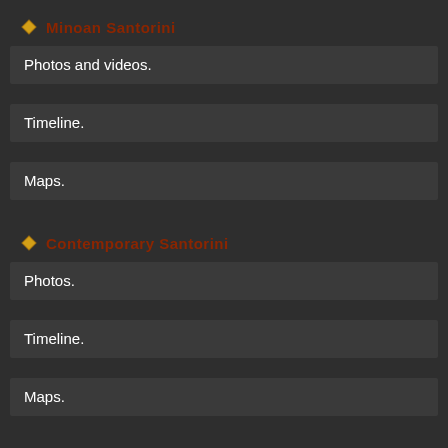Minoan Santorini
Photos and videos.
Timeline.
Maps.
Contemporary Santorini
Photos.
Timeline.
Maps.
Santorini
Photos.